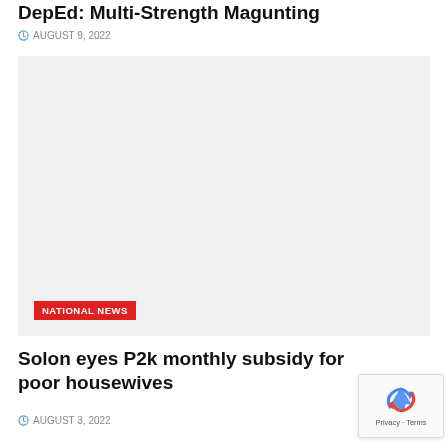Dep Ed: Multi-Strength Magunting
AUGUST 9, 2022
[Figure (photo): Gray placeholder image with a red NATIONAL NEWS badge in the lower left corner]
Solon eyes P2k monthly subsidy for poor housewives
AUGUST 3, 2022